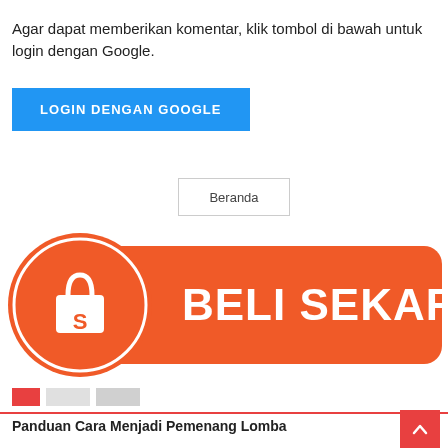Agar dapat memberikan komentar, klik tombol di bawah untuk login dengan Google.
LOGIN DENGAN GOOGLE
Beranda
[Figure (illustration): Shopee orange banner with shopping bag logo and text BELI SEKARANG]
[Figure (infographic): Slider navigation dots: one red active dot, two gray inactive dots]
Panduan Cara Menjadi Pemenang Lomba